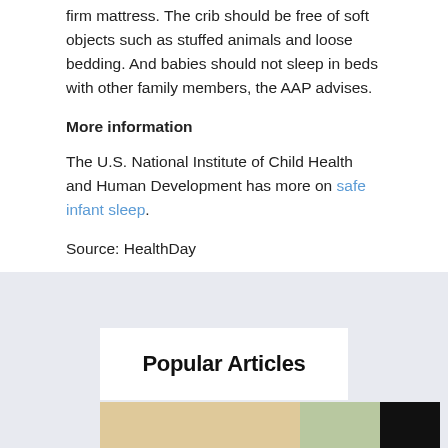firm mattress. The crib should be free of soft objects such as stuffed animals and loose bedding. And babies should not sleep in beds with other family members, the AAP advises.
More information
The U.S. National Institute of Child Health and Human Development has more on safe infant sleep.
Source: HealthDay
Posted in General Health, Women’s Health
Leave a Reply
Popular Articles
[Figure (photo): Partial photo strip at bottom of page]